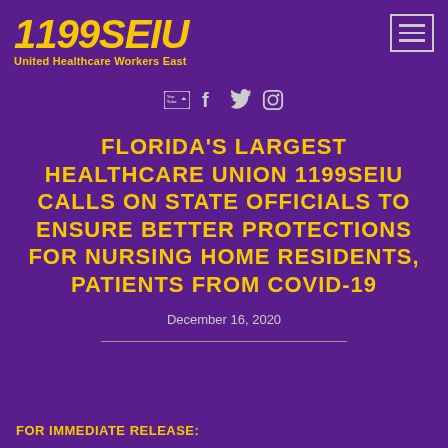[Figure (logo): 1199SEIU United Healthcare Workers East logo in yellow italic text on purple background]
[Figure (other): Hamburger menu icon (three horizontal lines) in a bordered box]
[Figure (other): Social media icons row: YouTube, Facebook, Twitter, Instagram]
FLORIDA'S LARGEST HEALTHCARE UNION 1199SEIU CALLS ON STATE OFFICIALS TO ENSURE BETTER PROTECTIONS FOR NURSING HOME RESIDENTS, PATIENTS FROM COVID-19
December 16, 2020
FOR IMMEDIATE RELEASE: